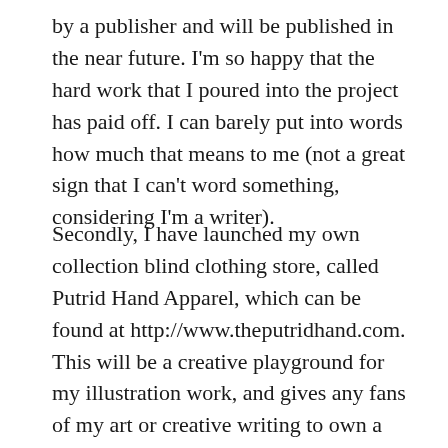by a publisher and will be published in the near future. I'm so happy that the hard work that I poured into the project has paid off. I can barely put into words how much that means to me (not a great sign that I can't word something, considering I'm a writer).
Secondly, I have launched my own collection blind clothing store, called Putrid Hand Apparel, which can be found at http://www.theputridhand.com. This will be a creative playground for my illustration work, and gives any fans of my art or creative writing to own a little piece of my visual work and represent my new brand.